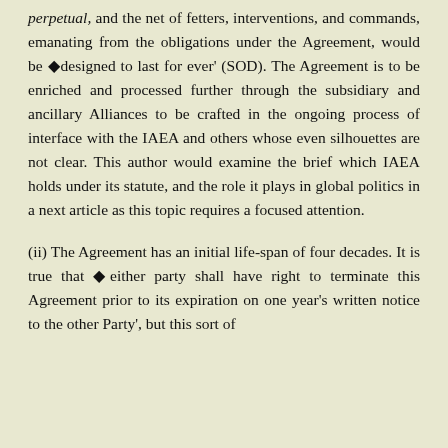perpetual, and the net of fetters, interventions, and commands, emanating from the obligations under the Agreement, would be ◆designed to last for ever' (SOD). The Agreement is to be enriched and processed further through the subsidiary and ancillary Alliances to be crafted in the ongoing process of interface with the IAEA and others whose even silhouettes are not clear. This author would examine the brief which IAEA holds under its statute, and the role it plays in global politics in a next article as this topic requires a focused attention.
(ii) The Agreement has an initial life-span of four decades. It is true that ◆either party shall have right to terminate this Agreement prior to its expiration on one year's written notice to the other Party', but this sort of